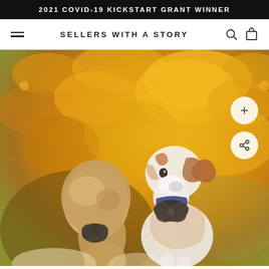2021 COVID-19 KICKSTART GRANT WINNER
SELLERS WITH A STORY
[Figure (photo): A girl with blonde hair in a ponytail and a Jack Russell Terrier dog, both wearing matching dark floral/ribbon accessories (hair clip and bow collar), photographed against a blurred background of golden yellow autumn leaves.]